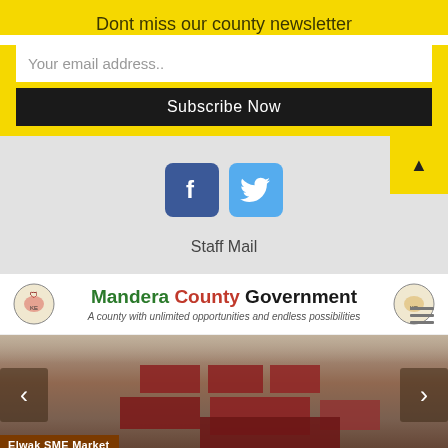Dont miss our county newsletter
Your email address..
Subscribe Now
[Figure (infographic): Facebook and Twitter social media icons, and an up-arrow button]
Staff Mail
[Figure (logo): Mandera County Government logo with two coats of arms and tagline: A county with unlimited opportunities and endless possibilities]
[Figure (photo): Aerial photo of Elwak SME Market with red-roofed buildings in arid landscape, with navigation arrows]
Elwak SME Market